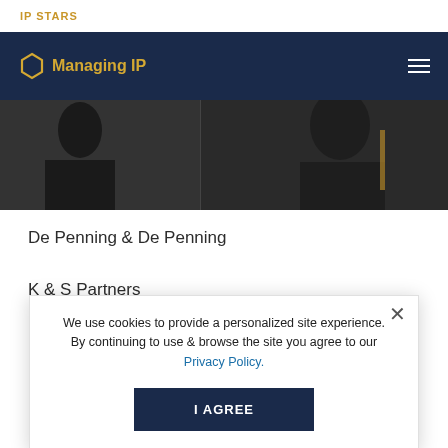IP STARS
[Figure (screenshot): Managing IP navigation bar with hexagon logo and hamburger menu on dark navy background]
[Figure (photo): Dark photo strip showing partial figure(s) in black clothing]
De Penning & De Penning
K & S Partners
Lakshmi Kumaran & Sridharan
Remfry & Sagar
We use cookies to provide a personalized site experience. By continuing to use & browse the site you agree to our Privacy Policy.
I AGREE